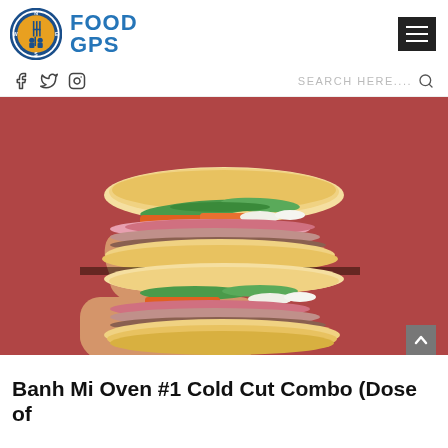[Figure (logo): Food GPS logo with compass/fork icon and blue FOOD GPS text]
[Figure (other): Hamburger menu icon (three white horizontal bars on dark background)]
[Figure (other): Social media icons: Facebook f, Twitter bird, Instagram camera circle]
SEARCH HERE....
[Figure (photo): A hand holding two halves of a Banh Mi sandwich showing layers of cold cut meats, pickled carrots, cucumber, and daikon against a red/terracotta textured wall background]
Banh Mi Oven #1 Cold Cut Combo (Dose of